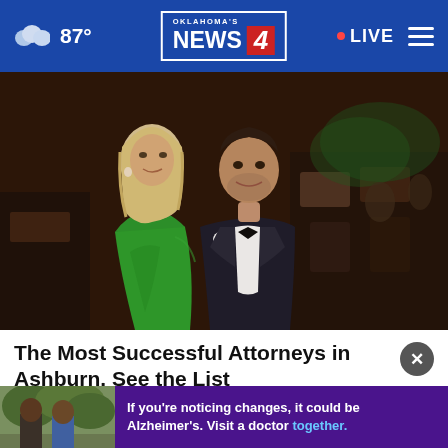87° | Oklahoma's News 4 | LIVE
[Figure (photo): A couple at a formal event. Woman in strapless green dress, man in black tuxedo with white boutonniere, ballroom/banquet hall in background.]
The Most Successful Attorneys in Ashburn. See the List
Top Attorney | Sponsored Links
[Figure (photo): Alzheimer's awareness advertisement. Two people talking outdoors. Text: If you're noticing changes, it could be Alzheimer's. Visit a doctor together.]